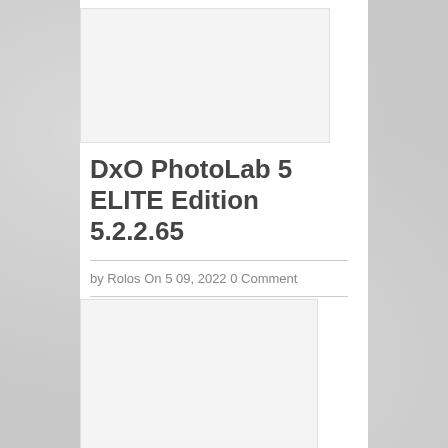[Figure (other): White image placeholder at top of content area]
DxO PhotoLab 5 ELITE Edition 5.2.2.65
by Rolos On 5⁠ 09, 2022 0 Comment
[Figure (other): White image placeholder at bottom of content area]